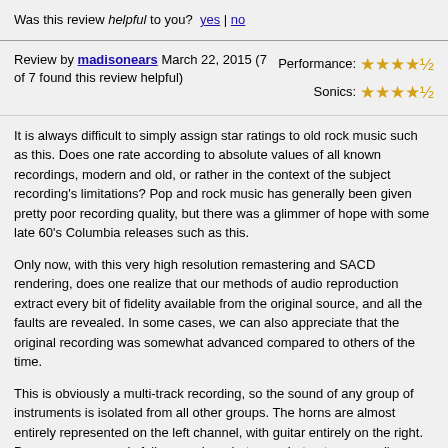Was this review helpful to you? yes | no
Review by madisonears March 22, 2015 (7 of 7 found this review helpful)
Performance: ★★★★½  Sonics: ★★★★½
It is always difficult to simply assign star ratings to old rock music such as this. Does one rate according to absolute values of all known recordings, modern and old, or rather in the context of the subject recording's limitations? Pop and rock music has generally been given pretty poor recording quality, but there was a glimmer of hope with some late 60's Columbia releases such as this.
Only now, with this very high resolution remastering and SACD rendering, does one realize that our methods of audio reproduction extract every bit of fidelity available from the original source, and all the faults are revealed. In some cases, we can also appreciate that the original recording was somewhat advanced compared to others of the time.
This is obviously a multi-track recording, so the sound of any group of instruments is isolated from all other groups. The horns are almost entirely represented on the left channel, with guitar entirely on the right. Drums, organ, vocals fall somewhere between, but not necessarily centered. When the trio or quartet of guitar, bass, drums and organ is playing, the right channel falls nearly silent. This artificial representation of space can be accommodated by the brain, but the other problem it presents is that the soundstage never expands beyond the speakers as it easily can with many classical and jazz SACD's. There is added depth